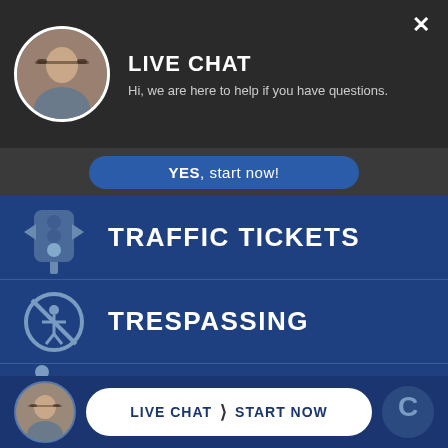LIVE CHAT
Hi, we are here to help if you have questions.
YES, start now!
TRAFFIC TICKETS
TRESPASSING
VIOLENT CRIMES
LIVE CHAT | START NOW